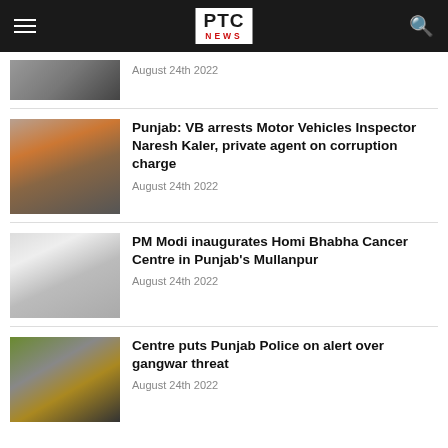PTC NEWS
August 24th 2022
Punjab: VB arrests Motor Vehicles Inspector Naresh Kaler, private agent on corruption charge
August 24th 2022
PM Modi inaugurates Homi Bhabha Cancer Centre in Punjab's Mullanpur
August 24th 2022
Centre puts Punjab Police on alert over gangwar threat
August 24th 2022